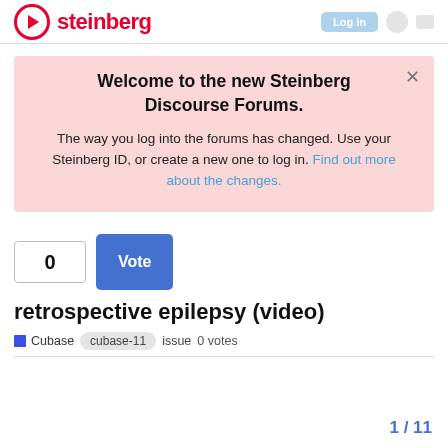steinberg
Welcome to the new Steinberg Discourse Forums.
The way you log into the forums has changed. Use your Steinberg ID, or create a new one to log in. Find out more about the changes.
0  Vote
retrospective epilepsy (video)
Cubase  cubase-11  issue  0 votes
1 / 11